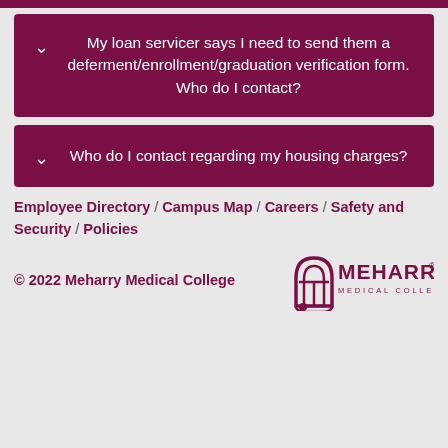My loan servicer says I need to send them a deferment/enrollment/graduation verification form. Who do I contact?
Who do I contact regarding my housing charges?
Employee Directory / Campus Map / Careers / Safety and Security / Policies
© 2022 Meharry Medical College
[Figure (logo): Meharry Medical College logo with arch icon and text MEHARRY MEDICAL COLLEGE]